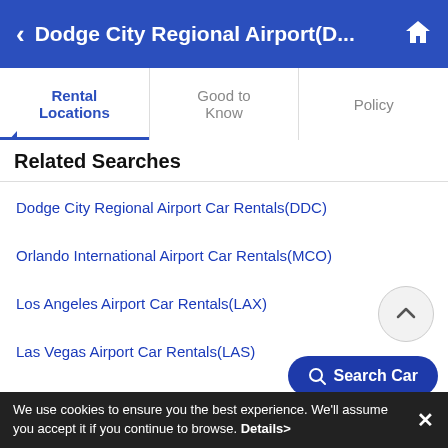Dodge City Regional Airport(D...
Rental Locations | Good to Know | Policy
Related Searches
Dodge City Regional Airport Car Rentals(DDC)
Orlando International Airport Car Rentals(MCO)
Los Angeles Airport Car Rentals(LAX)
Las Vegas Airport Car Rentals(LAS)
Fort Lauderdale Airport Car Ren...
We use cookies to ensure you the best experience. We'll assume you accept it if you continue to browse. Details>